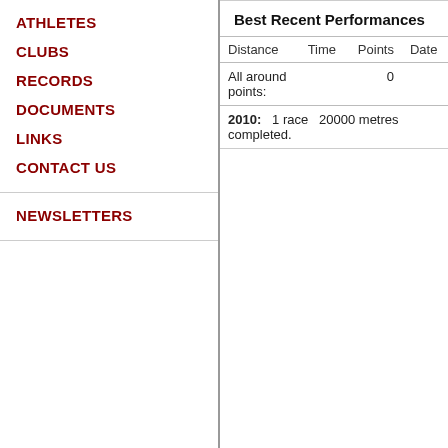ATHLETES
CLUBS
RECORDS
DOCUMENTS
LINKS
CONTACT US
NEWSLETTERS
Best Recent Performances
| Distance | Time | Points | Date |
| --- | --- | --- | --- |
| All around points: |  | 0 |  |
2010:  1 race  20000 metres completed.